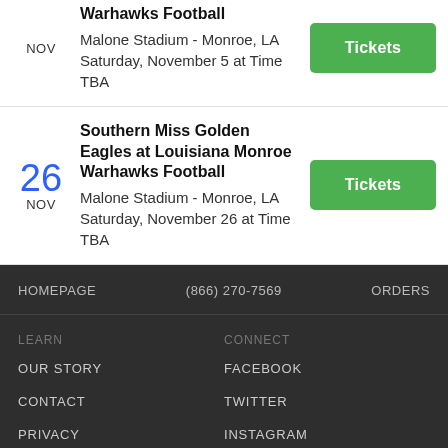Warhawks Football
Malone Stadium - Monroe, LA
Saturday, November 5 at Time TBA
26 NOV
Southern Miss Golden Eagles at Louisiana Monroe Warhawks Football
Malone Stadium - Monroe, LA
Saturday, November 26 at Time TBA
HOMEPAGE   (866) 270-7569   ORDERS
LEARN   CONNECT
OUR STORY   FACEBOOK
CONTACT   TWITTER
PRIVACY   INSTAGRAM
SAFE SHOPPING   BLOG
PRESS KIT